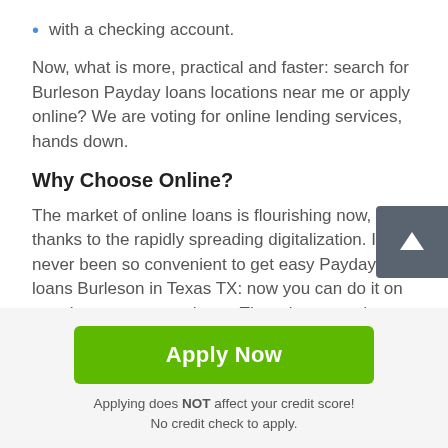with a checking account.
Now, what is more, practical and faster: search for Burleson Payday loans locations near me or apply online? We are voting for online lending services, hands down.
Why Choose Online?
The market of online loans is flourishing now, thanks to the rapidly spreading digitalization. It has never been so convenient to get easy Payday loans Burleson in Texas TX: now you can do it on your laptop or smartphone. There is no need to go outside if you want to borrow some extra money.
Apply Now
Applying does NOT affect your credit score!
No credit check to apply.